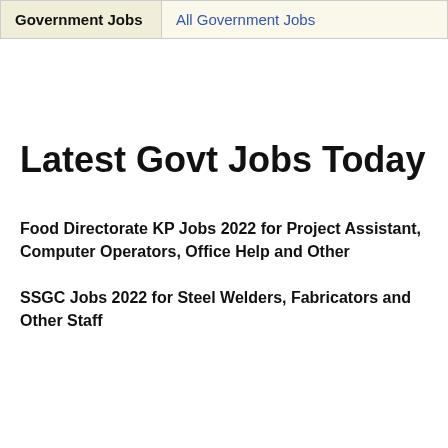| Government Jobs |  |
| --- | --- |
|  | All Government Jobs |
Latest Govt Jobs Today
Food Directorate KP Jobs 2022 for Project Assistant, Computer Operators, Office Help and Other
SSGC Jobs 2022 for Steel Welders, Fabricators and Other Staff